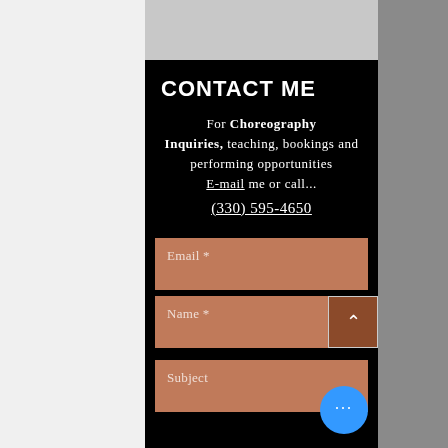CONTACT ME
For Choreography Inquiries, teaching, bookings and performing opportunities E-mail me or call... (330) 595-4650
[Figure (screenshot): Contact form with fields: Email *, Name *, Subject. A scroll-up button and a blue more-options button are visible.]